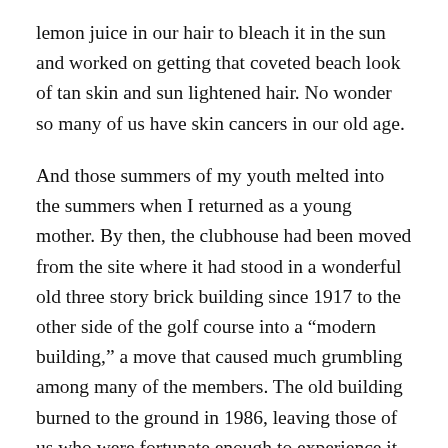lemon juice in our hair to bleach it in the sun and worked on getting that coveted beach look of tan skin and sun lightened hair. No wonder so many of us have skin cancers in our old age.
And those summers of my youth melted into the summers when I returned as a young mother. By then, the clubhouse had been moved from the site where it had stood in a wonderful old three story brick building since 1917 to the other side of the golf course into a “modern building,” a move that caused much grumbling among many of the members. The old building burned to the ground in 1986, leaving those of us who were fortunate enough to experience it with only fond memories, which leads me into other memories to be shared another time.
The new pool was a rectangle that flowed  into a smaller